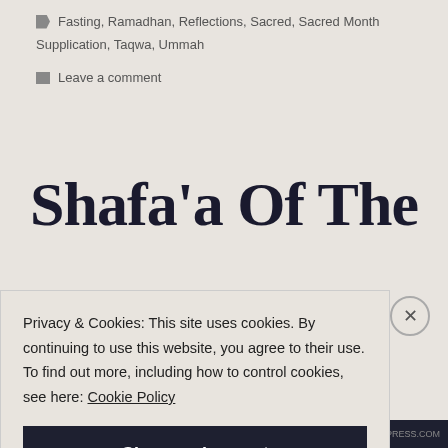Supplication, Taqwa, Ummah
Fasting, Ramadhan, Reflections, Sacred, Sacred Month
Leave a comment
Shafa'a Of The
Privacy & Cookies: This site uses cookies. By continuing to use this website, you agree to their use. To find out more, including how to control cookies, see here: Cookie Policy
Close and accept